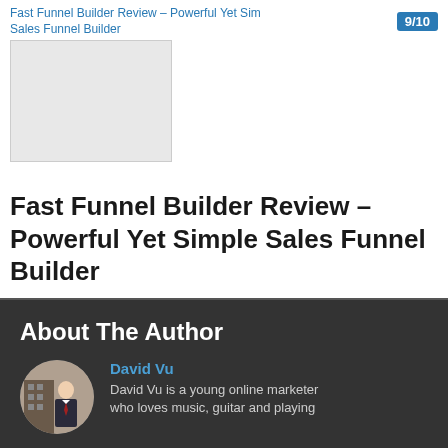Fast Funnel Builder Review – Powerful Yet Simple Sales Funnel Builder | 9/10
[Figure (photo): Thumbnail image placeholder for Fast Funnel Builder Review article]
Fast Funnel Builder Review – Powerful Yet Simple Sales Funnel Builder
About The Author
[Figure (photo): Circular profile photo of David Vu, a young man in a suit standing near a building]
David Vu
David Vu is a young online marketer who loves music, guitar and playing